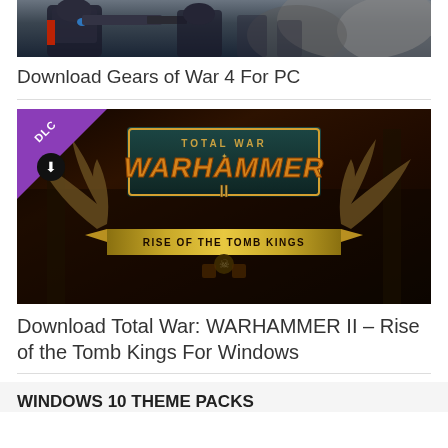[Figure (screenshot): Gears of War 4 game cover art showing armored characters with weapons against a dark rocky background]
Download Gears of War 4 For PC
[Figure (screenshot): Total War: WARHAMMER II – Rise of the Tomb Kings game cover art with ornate logo, DLC badge in top left corner]
Download Total War: WARHAMMER II – Rise of the Tomb Kings For Windows
WINDOWS 10 THEME PACKS